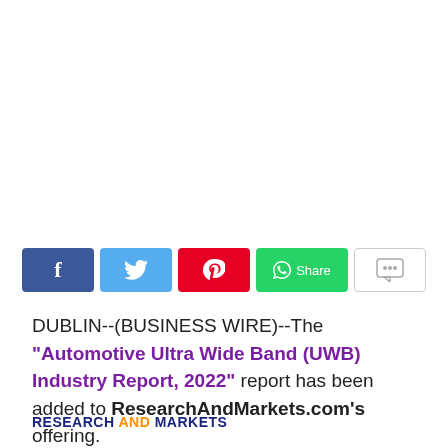[Figure (infographic): Social media sharing buttons: Facebook (blue), Twitter (light blue), Pinterest (red), WhatsApp Share (green), Comment (white/gray outline)]
DUBLIN--(BUSINESS WIRE)--The "Automotive Ultra Wide Band (UWB) Industry Report, 2022" report has been added to ResearchAndMarkets.com's offering.
RESEARCH AND MARKETS